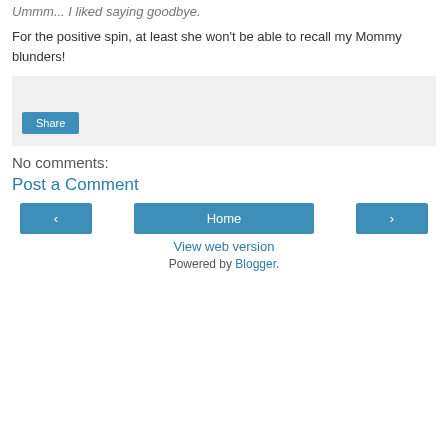Ummm... I liked saying goodbye.
For the positive spin, at least she won't be able to recall my Mommy blunders!
[Figure (other): Share button widget area with light gray background and a 'Share' button in blue]
No comments:
Post a Comment
< (previous) | Home | > (next) navigation buttons
View web version
Powered by Blogger.